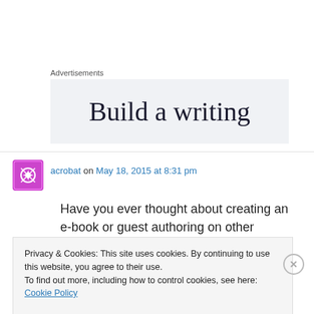Advertisements
[Figure (other): Advertisement banner with text 'Build a writing' on light gray background]
acrobat on May 18, 2015 at 8:31 pm
Have you ever thought about creating an e-book or guest authoring on other
Privacy & Cookies: This site uses cookies. By continuing to use this website, you agree to their use.
To find out more, including how to control cookies, see here: Cookie Policy